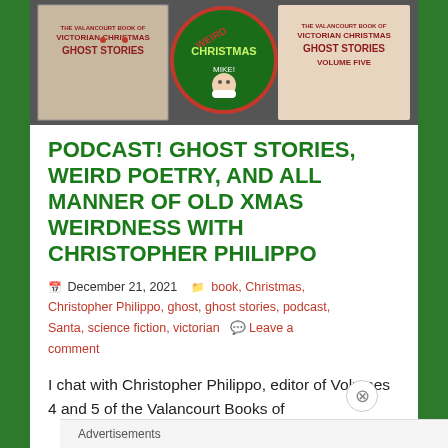[Figure (photo): Book covers for The Valancourt Book of Victorian Christmas Ghost Stories, including a circular 'Weird Christmas' badge/sticker in the center, shown against a dark background.]
PODCAST! GHOST STORIES, WEIRD POETRY, AND ALL MANNER OF OLD XMAS WEIRDNESS WITH CHRISTOPHER PHILIPPO
December 21, 2021   book, Christmas, Christopher Philippo, ghost, ghost stories, podcast, Santa, science fiction, victorian   Leave a comment
I chat with Christopher Philippo, editor of Volumes 4 and 5 of the Valancourt Books of
Advertisements